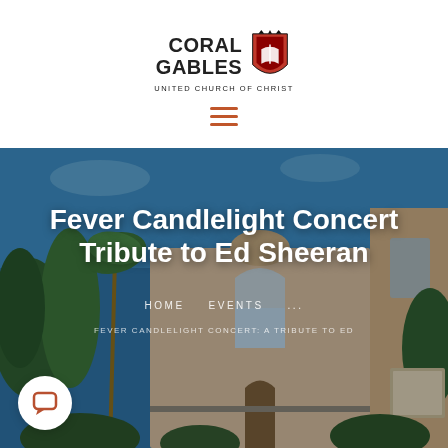[Figure (logo): Coral Gables United Church of Christ logo with shield/book icon in red and black]
[Figure (other): Hamburger menu icon with three horizontal orange-red lines]
[Figure (photo): Photograph of Coral Gables United Church building exterior with palm trees and blue sky, serving as hero banner background]
Fever Candlelight Concert: A Tribute to Ed Sheeran
HOME   EVENTS   ...
FEVER CANDLELIGHT CONCERT: A TRIBUTE TO ED
[Figure (other): White circular chat/support button with speech bubble icon in brown/red]